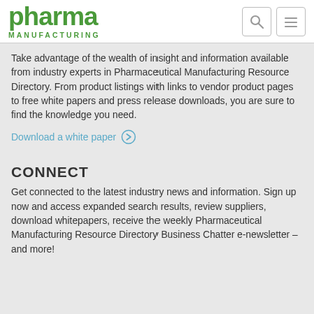pharma MANUFACTURING
Take advantage of the wealth of insight and information available from industry experts in Pharmaceutical Manufacturing Resource Directory. From product listings with links to vendor product pages to free white papers and press release downloads, you are sure to find the knowledge you need.
Download a white paper
CONNECT
Get connected to the latest industry news and information. Sign up now and access expanded search results, review suppliers, download whitepapers, receive the weekly Pharmaceutical Manufacturing Resource Directory Business Chatter e-newsletter – and more!